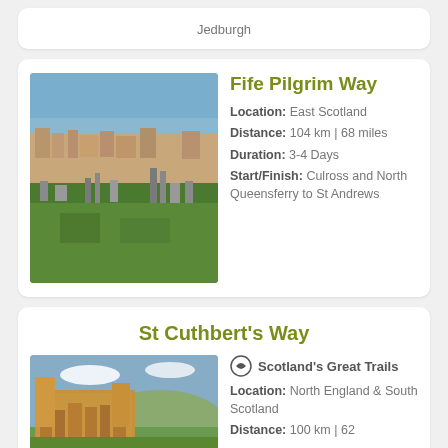Jedburgh
Fife Pilgrim Way
[Figure (photo): Aerial view of St Andrews ruins and coastal town in East Scotland]
Location: East Scotland
Distance: 104 km | 68 miles
Duration: 3-4 Days
Start/Finish: Culross and North Queensferry to St Andrews
St Cuthbert's Way
Scotland's Great Trails
[Figure (photo): Melrose Abbey ruins with green hills in the background]
Location: North England & South Scotland
Distance: 100 km | 62